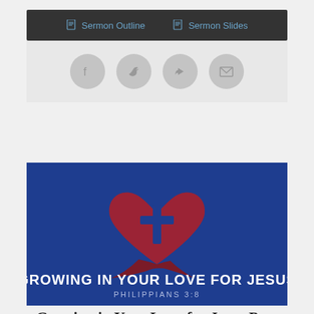[Figure (screenshot): Dark toolbar with 'Sermon Outline' and 'Sermon Slides' links in blue text with document icons]
[Figure (screenshot): Light grey bar with four circular social sharing buttons: Facebook, Twitter, Share/Forward, and Email]
[Figure (illustration): Blue background sermon slide image showing a red heart with a cross inside it and a curved path/ribbon at the bottom. Text reads 'GROWING IN YOUR LOVE FOR JESUS' and 'PHILIPPIANS 3:8']
Growing in Your Love for Jesus Part